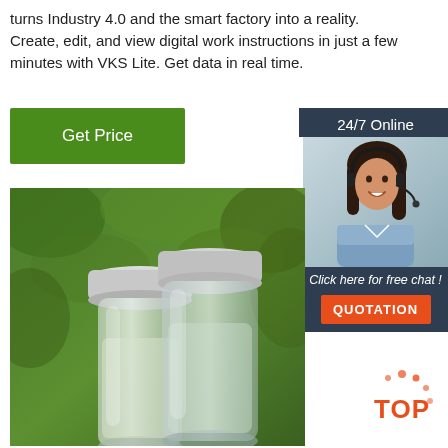turns Industry 4.0 and the smart factory into a reality. Create, edit, and view digital work instructions in just a few minutes with VKS Lite. Get data in real time.
[Figure (other): Green button labeled 'Get Price']
[Figure (other): Sidebar panel with '24/7 Online' header, customer service agent photo, 'Click here for free chat!' text, and orange QUOTATION button]
[Figure (photo): Two glass vials with white powder/content, set against a green leafy background]
[Figure (logo): Orange 'TOP' badge with dots in bottom-right corner]